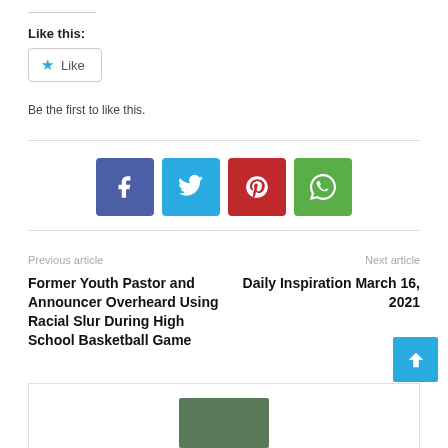Like this:
[Figure (other): Like button with star icon]
Be the first to like this.
[Figure (other): Social sharing icons: Facebook (blue), Twitter (light blue), Pinterest (red), WhatsApp (green)]
Previous article
Next article
Former Youth Pastor and Announcer Overheard Using Racial Slur During High School Basketball Game
Daily Inspiration March 16, 2021
[Figure (photo): Partially visible photo with trees/foliage at the bottom of the page]